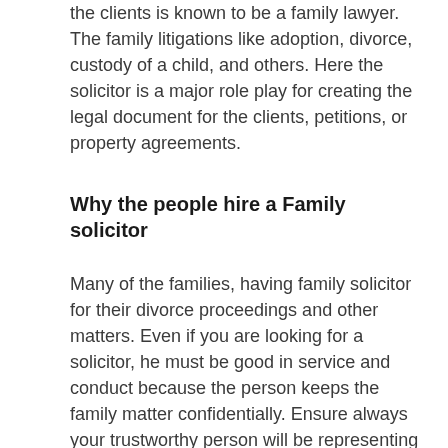the clients is known to be a family lawyer. The family litigations like adoption, divorce, custody of a child, and others. Here the solicitor is a major role play for creating the legal document for the clients, petitions, or property agreements.
Why the people hire a Family solicitor
Many of the families, having family solicitor for their divorce proceedings and other matters. Even if you are looking for a solicitor, he must be good in service and conduct because the person keeps the family matter confidentially. Ensure always your trustworthy person will be representing you in the court for the family issues. Still, you may think Why do you have a family attorney for your family-related problems? Yes, you should have for the conveyancing and divorce. As you know in divorce case each and every partner hires his or her individual solicitor for their settlement wellbeing in order to get legal divorcees the person who is well-versed in family law would calculate the